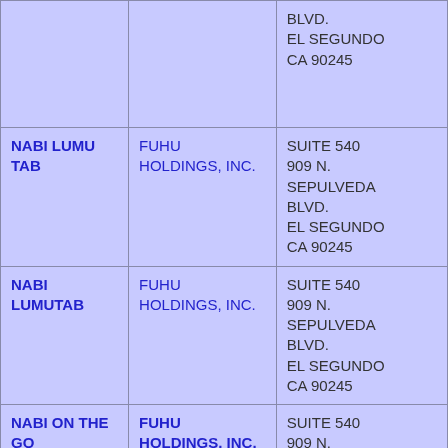| Mark | Owner | Address |
| --- | --- | --- |
|  |  | BLVD.
EL SEGUNDO
CA 90245 |
| NABI LUMU TAB | FUHU HOLDINGS, INC. | SUITE 540
909 N.
SEPULVEDA
BLVD.
EL SEGUNDO
CA 90245 |
| NABI LUMUTAB | FUHU HOLDINGS, INC. | SUITE 540
909 N.
SEPULVEDA
BLVD.
EL SEGUNDO
CA 90245 |
| NABI ON THE GO | FUHU HOLDINGS, INC. | SUITE 540
909 N.
SEPULVEDA
BLVD.
EL SEGUNDO
CA 90245 |